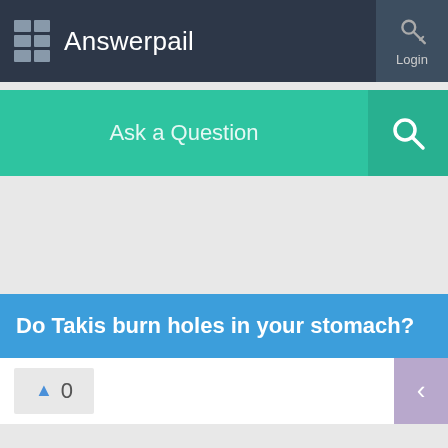Answerpail
Ask a Question
Do Takis burn holes in your stomach?
0